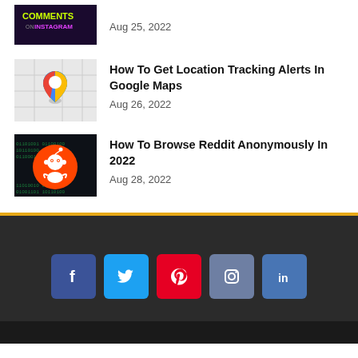[Figure (screenshot): Comments on Instagram thumbnail - dark background with yellow and pink text]
Aug 25, 2022
[Figure (screenshot): Google Maps location pin thumbnail]
How To Get Location Tracking Alerts In Google Maps
Aug 26, 2022
[Figure (screenshot): Reddit alien logo on dark background thumbnail]
How To Browse Reddit Anonymously In 2022
Aug 28, 2022
[Figure (infographic): Social media icons row: Facebook, Twitter, Pinterest, Instagram, LinkedIn on dark footer background]